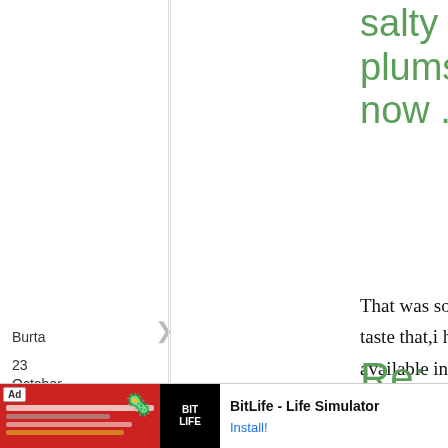salty pickled plums) - now ...
That was so yummy!I wanna taste that,i hope that is also available in the market near me :(
Burta
23
October,
2011 -
Re: Homemade
[Figure (screenshot): Advertisement banner for BitLife - Life Simulator app with red background image on left and text and Install button on right]